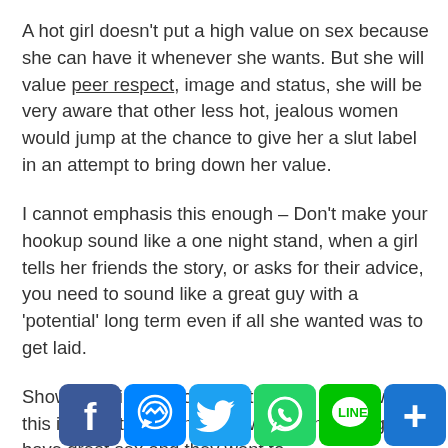A hot girl doesn't put a high value on sex because she can have it whenever she wants. But she will value peer respect, image and status, she will be very aware that other less hot, jealous women would jump at the chance to give her a slut label in an attempt to bring down her value.
I cannot emphasis this enough – Don't make your hookup sound like a one night stand, when a girl tells her friends the story, or asks for their advice, you need to sound like a great guy with a 'potential' long term even if all she wanted was to get laid.
Show any girl this post and they will agree with it, this is what they want, they want to meet a guy have great sex and they want to [cut off] This is what horny gir[cut off]
[Figure (infographic): Social media sharing buttons: Facebook (blue), Messenger (blue), Twitter (blue), WhatsApp (green), Line (green), Share/More (blue)]